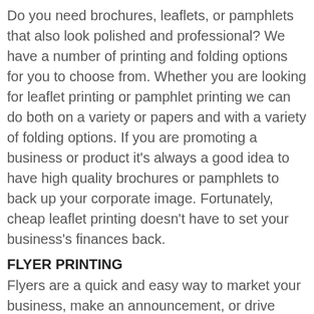Do you need brochures, leaflets, or pamphlets that also look polished and professional? We have a number of printing and folding options for you to choose from. Whether you are looking for leaflet printing or pamphlet printing we can do both on a variety or papers and with a variety of folding options. If you are promoting a business or product it's always a good idea to have high quality brochures or pamphlets to back up your corporate image. Fortunately, cheap leaflet printing doesn't have to set your business's finances back.
FLYER PRINTING
Flyers are a quick and easy way to market your business, make an announcement, or drive